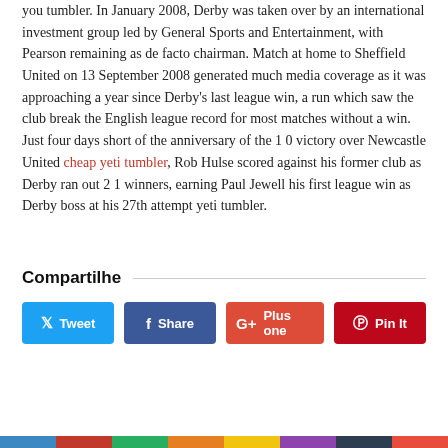you tumbler. In January 2008, Derby was taken over by an international investment group led by General Sports and Entertainment, with Pearson remaining as de facto chairman. Match at home to Sheffield United on 13 September 2008 generated much media coverage as it was approaching a year since Derby's last league win, a run which saw the club break the English league record for most matches without a win. Just four days short of the anniversary of the 1 0 victory over Newcastle United cheap yeti tumbler, Rob Hulse scored against his former club as Derby ran out 2 1 winners, earning Paul Jewell his first league win as Derby boss at his 27th attempt yeti tumbler.
Compartilhe
Tweet | Share | Plus one | Pin It